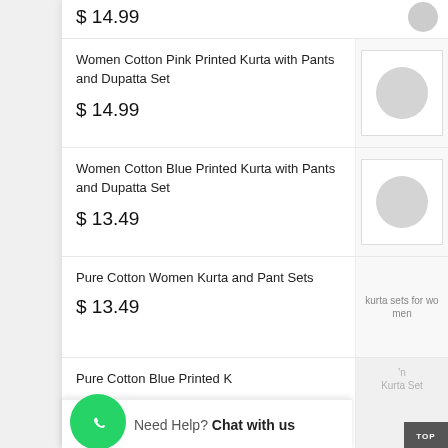$ 14.99
Women Cotton Pink Printed Kurta with Pants and Dupatta Set
$ 14.99
Women Cotton Blue Printed Kurta with Pants and Dupatta Set
$ 13.49
Pure Cotton Women Kurta and Pant Sets
$ 13.49
Pure Cotton Blue Printed K
$ 13.49
Need Help? Chat with us